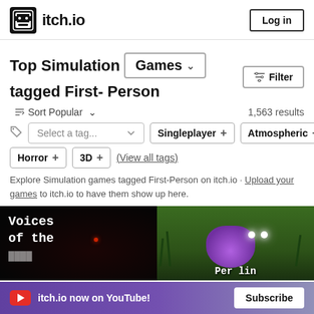itch.io | Log in
Top Simulation Games tagged First-Person
Sort Popular  1,563 results
Select a tag... Singleplayer + Atmospheric + Horror + 3D + (View all tags)
Explore Simulation games tagged First-Person on itch.io · Upload your games to itch.io to have them show up here.
[Figure (screenshot): Two game thumbnails side by side: left shows 'Voices of the' text on dark background, right shows a creature in a green environment with text 'Perlin']
itch.io now on YouTube!  Subscribe